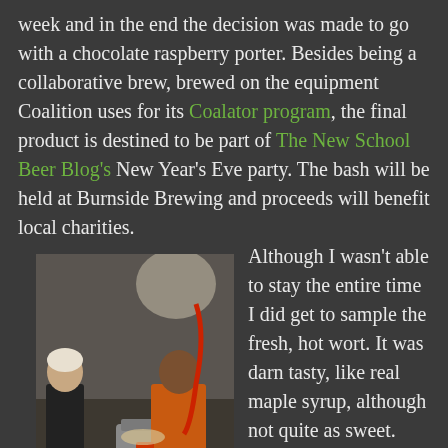week and in the end the decision was made to go with a chocolate raspberry porter. Besides being a collaborative brew, brewed on the equipment Coalition uses for its Coalator program, the final product is destined to be part of The New School Beer Blog's New Year's Eve party. The bash will be held at Burnside Brewing and proceeds will benefit local charities.
[Figure (photo): Two people in a brewery setting working with brewing equipment. A woman in black on the left and a person in an orange shirt on the right, with a large kettle and brewing apparatus visible.]
Although I wasn't able to stay the entire time I did get to sample the fresh, hot wort. It was darn tasty, like real maple syrup, although not quite as sweet. The raspberry puree was added near